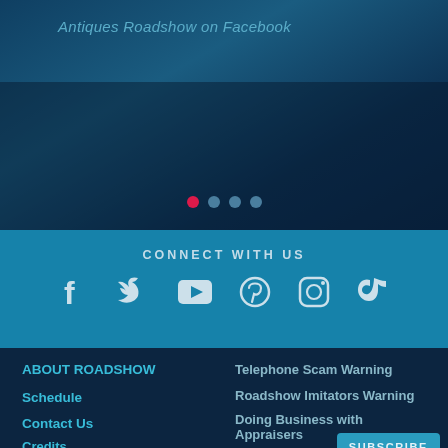Antiques Roadshow on Facebook
[Figure (other): Dark blue banner with carousel dots indicator showing 4 dots, first dot active (red/pink), others grey-blue]
CONNECT WITH US
[Figure (other): Social media icons row: Facebook, Twitter, YouTube, Pinterest, Instagram, TikTok]
ABOUT ROADSHOW
Telephone Scam Warning
Schedule
Roadshow Imitators Warning
Contact Us
Doing Business with Appraisers
Credits
Our Sponsors
Press
Our Funders
SUBSCRIBE